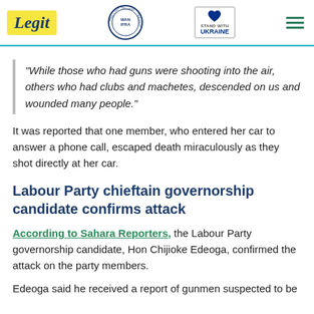[Figure (logo): Legit.ng logo with yellow background, WAN-IFRA Best News Website in Africa 2021 badge, Stand With Ukraine badge with heart icon, and hamburger menu icon]
“While those who had guns were shooting into the air, others who had clubs and machetes, descended on us and wounded many people.”
It was reported that one member, who entered her car to answer a phone call, escaped death miraculously as they shot directly at her car.
Labour Party chieftain governorship candidate confirms attack
According to Sahara Reporters, the Labour Party governorship candidate, Hon Chijioke Edeoga, confirmed the attack on the party members.
Edeoga said he received a report of gunmen suspected to be